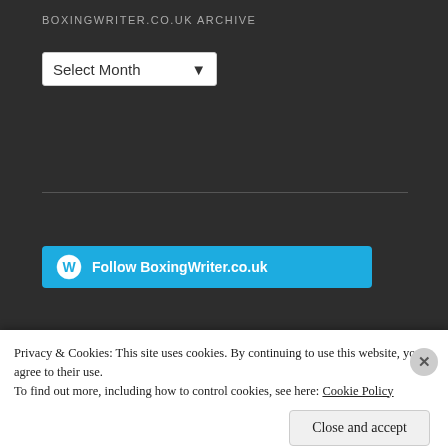BOXINGWRITER.CO.UK ARCHIVE
[Figure (screenshot): Select Month dropdown box]
BOXINGWRITER.CO.UK TRIBUTE WEAR
[Figure (screenshot): Follow BoxingWriter.co.uk WordPress follow button in blue]
[Figure (photo): FURY tribute wear yellow banner with bold black FURY text]
Privacy & Cookies: This site uses cookies. By continuing to use this website, you agree to their use.
To find out more, including how to control cookies, see here: Cookie Policy
Close and accept